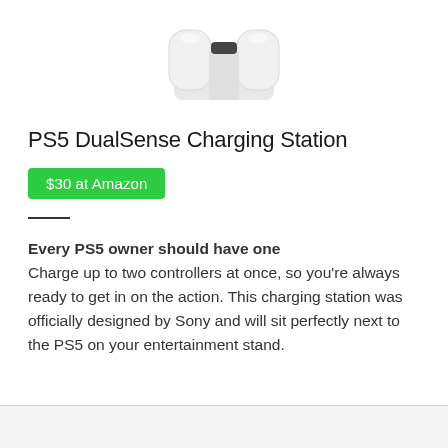[Figure (photo): Partial top view of a PS5 DualSense Charging Station, white colored, shown cropped at the top of the page]
PS5 DualSense Charging Station
$30 at Amazon
Every PS5 owner should have one
Charge up to two controllers at once, so you're always ready to get in on the action. This charging station was officially designed by Sony and will sit perfectly next to the PS5 on your entertainment stand.